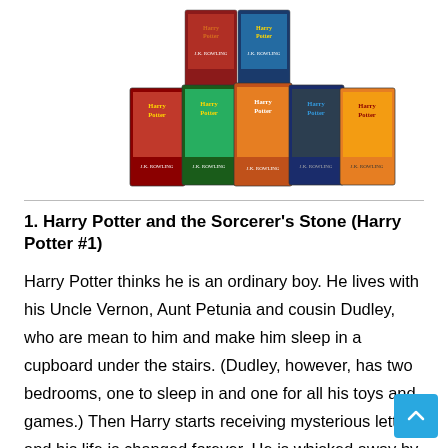[Figure (photo): Stack of Harry Potter book series covers by J.K. Rowling, showing multiple volumes fanned out.]
1. Harry Potter and the Sorcerer's Stone (Harry Potter #1)
Harry Potter thinks he is an ordinary boy. He lives with his Uncle Vernon, Aunt Petunia and cousin Dudley, who are mean to him and make him sleep in a cupboard under the stairs. (Dudley, however, has two bedrooms, one to sleep in and one for all his toys and games.) Then Harry starts receiving mysterious letters and his life is changed forever. He is whisked away by a beetle-eyed giant of a man and enrolled Hogwarts School of Witchcraft and Wizardry. The reason: